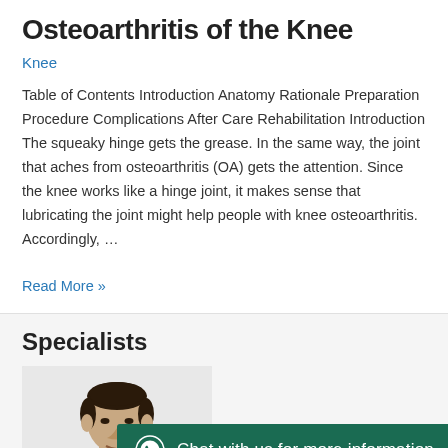Osteoarthritis of the Knee
Knee
Table of Contents Introduction Anatomy Rationale Preparation Procedure Complications After Care Rehabilitation Introduction The squeaky hinge gets the grease. In the same way, the joint that aches from osteoarthritis (OA) gets the attention. Since the knee works like a hinge joint, it makes sense that lubricating the joint might help people with knee osteoarthritis. Accordingly, …
Read More »
Specialists
[Figure (photo): Photo of a male specialist/doctor, shown from shoulders up, with dark hair, against a light background.]
Chat with us for more information